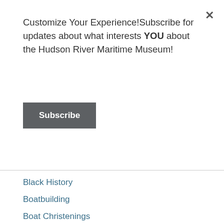Customize Your Experience!Subscribe for updates about what interests YOU about the Hudson River Maritime Museum!
Subscribe
Black History
Boatbuilding
Boat Christenings
Boating
Books
Brickyards
Bridges
Britain
Brooklyn Bridge
Bud Atkins
Buster Keaton
Callanan Road Improvement Company
Canada